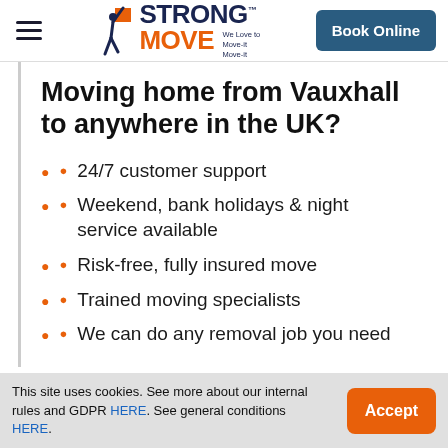Strong Move – We Love to Move-it Move-it | Book Online
Moving home from Vauxhall to anywhere in the UK?
24/7 customer support
Weekend, bank holidays & night service available
Risk-free, fully insured move
Trained moving specialists
We can do any removal job you need
This site uses cookies. See more about our internal rules and GDPR HERE. See general conditions HERE.